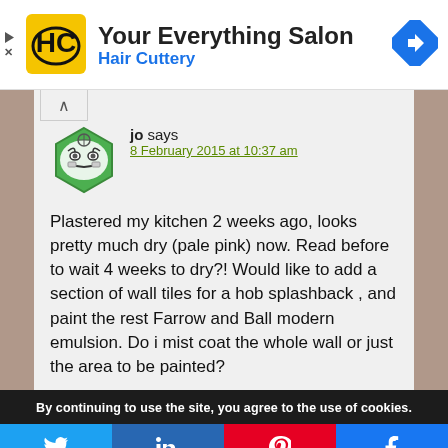[Figure (advertisement): Hair Cuttery Your Everything Salon ad banner with logo and navigation icon]
[Figure (photo): User avatar for commenter 'jo' - cartoon face with mustache in green hexagon]
jo says
8 February 2015 at 10:37 am
Plastered my kitchen 2 weeks ago, looks pretty much dry (pale pink) now. Read before to wait 4 weeks to dry?! Would like to add a section of wall tiles for a hob splashback , and paint the rest Farrow and Ball modern emulsion. Do i mist coat the whole wall or just the area to be painted?
By continuing to use the site, you agree to the use of cookies.